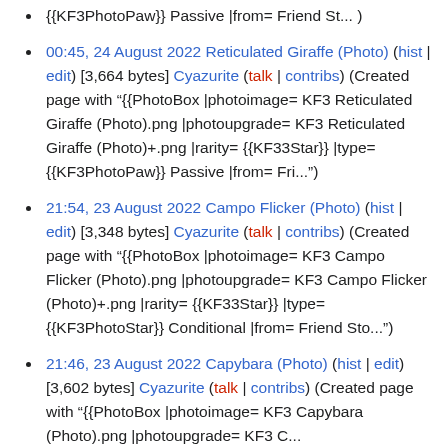{{KF3PhotoPaw}} Passive |from= Friend St... )
00:45, 24 August 2022 Reticulated Giraffe (Photo) (hist | edit) [3,664 bytes] Cyazurite (talk | contribs) (Created page with "{{PhotoBox |photoimage= KF3 Reticulated Giraffe (Photo).png |photoupgrade= KF3 Reticulated Giraffe (Photo)+.png |rarity= {{KF33Star}} |type= {{KF3PhotoPaw}} Passive |from= Fri...")
21:54, 23 August 2022 Campo Flicker (Photo) (hist | edit) [3,348 bytes] Cyazurite (talk | contribs) (Created page with "{{PhotoBox |photoimage= KF3 Campo Flicker (Photo).png |photoupgrade= KF3 Campo Flicker (Photo)+.png |rarity= {{KF33Star}} |type= {{KF3PhotoStar}} Conditional |from= Friend Sto...")
21:46, 23 August 2022 Capybara (Photo) (hist | edit) [3,602 bytes] Cyazurite (talk | contribs) (Created page with "{{PhotoBox |photoimage= KF3 Capybara (Photo).png |photoupgrade= KF3 C...